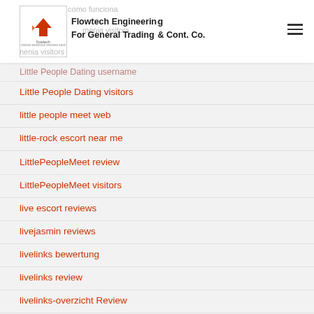Flowtech Engineering For General Trading & Cont. Co.
Little People Dating username
Little People Dating visitors
little people meet web
little-rock escort near me
LittlePeopleMeet review
LittlePeopleMeet visitors
live escort reviews
livejasmin reviews
livelinks bewertung
livelinks review
livelinks-overzicht Review
loan 10000